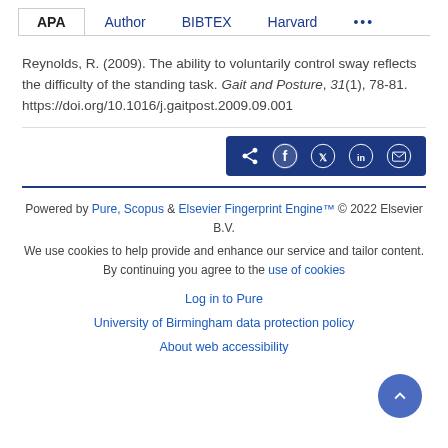APA  Author  BIBTEX  Harvard  ...
Reynolds, R. (2009). The ability to voluntarily control sway reflects the difficulty of the standing task. Gait and Posture, 31(1), 78-81. https://doi.org/10.1016/j.gaitpost.2009.09.001
[Figure (other): Social share button bar with share, Facebook, Twitter, LinkedIn, and email icons on dark blue background]
Powered by Pure, Scopus & Elsevier Fingerprint Engine™ © 2022 Elsevier B.V.
We use cookies to help provide and enhance our service and tailor content. By continuing you agree to the use of cookies
Log in to Pure
University of Birmingham data protection policy
About web accessibility